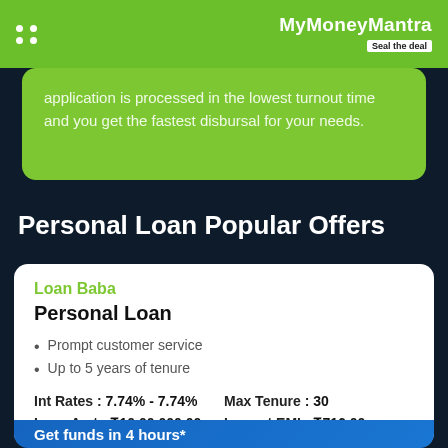MyMoneyMantra — Seal the deal
application is processed in the lowest turnout time and you get the fastest disbursal for your needs.
Personal Loan Popular Offers
Loan Baba
Personal Loan
Prompt customer service
Up to 5 years of tenure
| Field | Value |
| --- | --- |
| Int Rates : | 7.74% - 7.74% |
| Max Tenure : | 30 |
| Loan Amt : | ₹10,00,000.00 |
| Lowest EMI : | ₹716.00 |
Get funds in 4 hours*